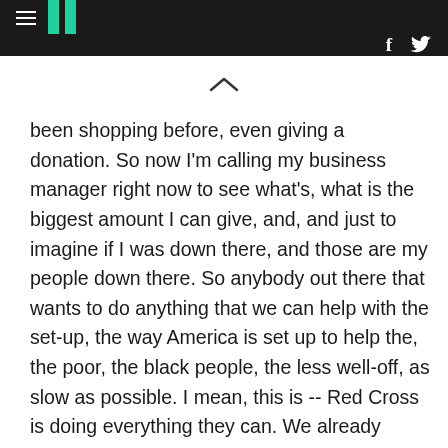HuffPost navigation with hamburger menu, logo, Facebook and Twitter icons
been shopping before, even giving a donation. So now I'm calling my business manager right now to see what's, what is the biggest amount I can give, and, and just to imagine if I was down there, and those are my people down there. So anybody out there that wants to do anything that we can help with the set-up, the way America is set up to help the, the poor, the black people, the less well-off, as slow as possible. I mean, this is -- Red Cross is doing everything they can. We already realize a lot of people that could help are at war right now, fighting another way -- and